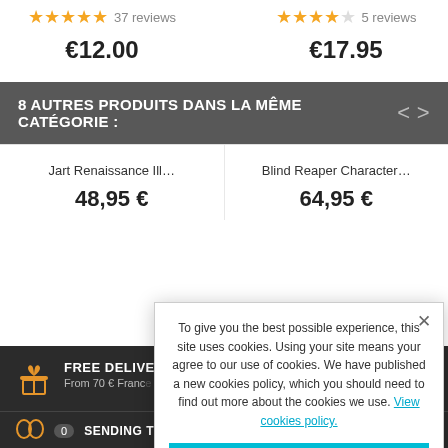★★★★★ 37 reviews  |  ★★★★☆ 5 reviews
€12.00  |  €17.95
8 AUTRES PRODUITS DANS LA MÊME CATÉGORIE :
Jart Renaissance Ill… 48,95 €
Blind Reaper Character… 64,95 €
FREE DELIVERY
From 70 € France & Belgium, 110 €...
To give you the best possible experience, this site uses cookies. Using your site means your agree to our use of cookies. We have published a new cookies policy, which you should need to find out more about the cookies we use. View cookies policy.
Accept
SENDING THE SAME DAY
RETURNS UP TO 30 DAYS